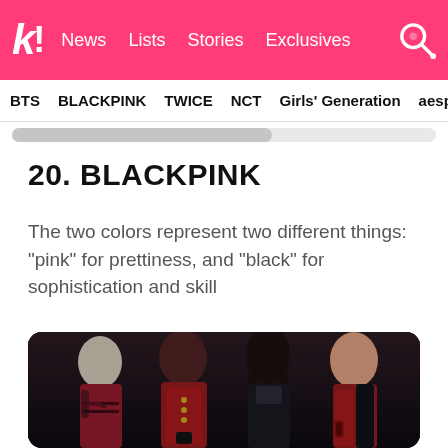k! News Lists Stories Exclusives
BTS BLACKPINK TWICE NCT Girls' Generation aespa
20. BLACKPINK
The two colors represent two different things: “pink” for prettiness, and “black” for sophistication and skill
[Figure (photo): BLACKPINK group photo — four female K-pop artists dressed in dark red and black outfits against a dark background]